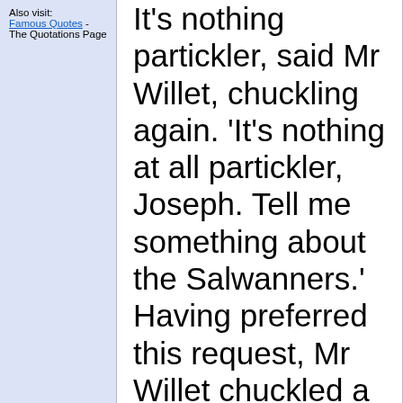Also visit: Famous Quotes - The Quotations Page
It's nothing partickler, said Mr Willet, chuckling again. 'It's nothing at all partickler, Joseph. Tell me something about the Salwanners.' Having preferred this request, Mr Willet chuckled a third time, and after these unusual demonstrations of levity, he put his pipe in his mouth again.
'What shall I tell you, father?' asked Joe, laying his hand upon his sire's shoulder, and looking down into his face. 'That I have come back, poorer than a